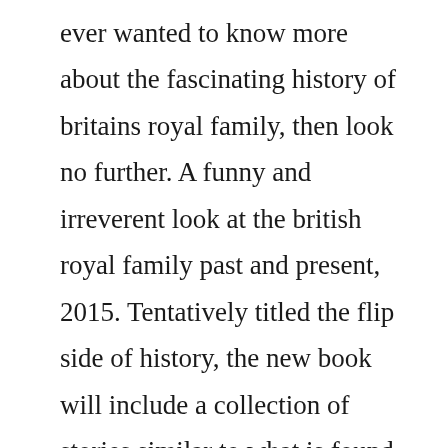ever wanted to know more about the fascinating history of britains royal family, then look no further. A funny and irreverent look at the british royal family past and present, 2015. Tentatively titled the flip side of history, the new book will include a collection of stories similar to what is found on this website and in the useless information podcast. Bruce montague continuing the sensational success of the useless information series, the official useless information society brings you another essential compendium of everything you never needed but always